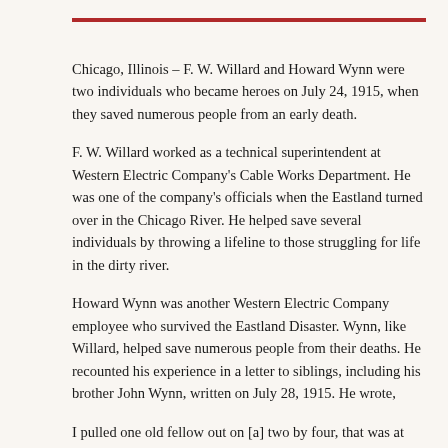Chicago, Illinois – F. W. Willard and Howard Wynn were two individuals who became heroes on July 24, 1915, when they saved numerous people from an early death.
F. W. Willard worked as a technical superintendent at Western Electric Company's Cable Works Department. He was one of the company's officials when the Eastland turned over in the Chicago River. He helped save several individuals by throwing a lifeline to those struggling for life in the dirty river.
Howard Wynn was another Western Electric Company employee who survived the Eastland Disaster. Wynn, like Willard, helped save numerous people from their deaths. He recounted his experience in a letter to siblings, including his brother John Wynn, written on July 28, 1915. He wrote,
I pulled one old fellow out on [a] two by four, that was at least 2 feet under water, hanging onto an arm chair which refused to sink, and so he was floating along